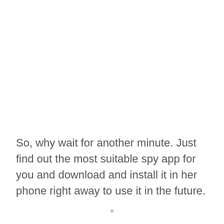So, why wait for another minute. Just find out the most suitable spy app for you and download and install it in her phone right away to use it in the future.
×